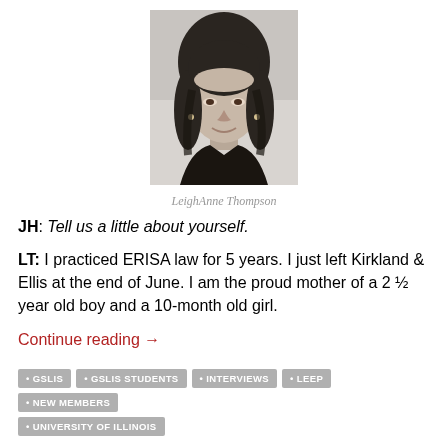[Figure (photo): Black and white portrait photo of LeighAnne Thompson, a woman with dark shoulder-length hair, smiling, wearing dark clothing.]
LeighAnne Thompson
JH: Tell us a little about yourself.
LT: I practiced ERISA law for 5 years. I just left Kirkland & Ellis at the end of June. I am the proud mother of a 2 ½ year old boy and a 10-month old girl.
Continue reading →
GSLIS
GSLIS STUDENTS
INTERVIEWS
LEEP
NEW MEMBERS
UNIVERSITY OF ILLINOIS